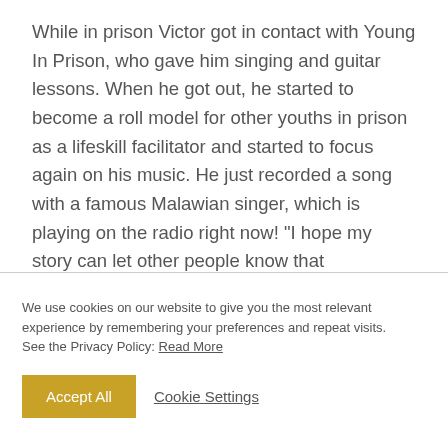While in prison Victor got in contact with Young In Prison, who gave him singing and guitar lessons. When he got out, he started to become a roll model for other youths in prison as a lifeskill facilitator and started to focus again on his music. He just recorded a song with a famous Malawian singer, which is playing on the radio right now! "I hope my story can let other people know that everything's possible, no matter what obstacles are on your road. Keep moving forwards and don't look back."
We use cookies on our website to give you the most relevant experience by remembering your preferences and repeat visits.
See the Privacy Policy: Read More
Accept All   Cookie Settings